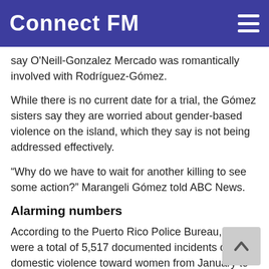Connect FM
say O'Neill-Gonzalez Mercado was romantically involved with Rodríguez-Gómez.
While there is no current date for a trial, the Gómez sisters say they are worried about gender-based violence on the island, which they say is not being addressed effectively.
“Why do we have to wait for another killing to see some action?” Marangeli Gómez told ABC News.
Alarming numbers
According to the Puerto Rico Police Bureau, there were a total of 5,517 documented incidents of domestic violence toward women from January to December 2020.
In the same year, there have been 21 gender-based murders, according to a report from Puerto Rico’s Equal Gender Observatory.